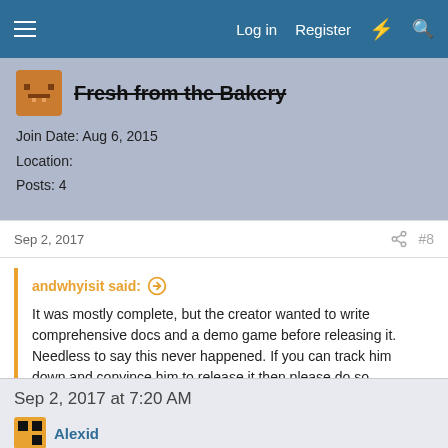Log in  Register  #8
Fresh from the Bakery
Join Date: Aug 6, 2015
Location:
Posts: 4
Sep 2, 2017  #8
andwhyisit said:
It was mostly complete, but the creator wanted to write comprehensive docs and a demo game before releasing it. Needless to say this never happened. If you can track him down and convince him to release it then please do so.
i know, but he had already released the editor already but only to people who asked him in a thread in 2015, but there are people who still have it who have gotten on recently, so i am pming them asking if they can share the link.
Sep 2, 2017 at 7:20 AM